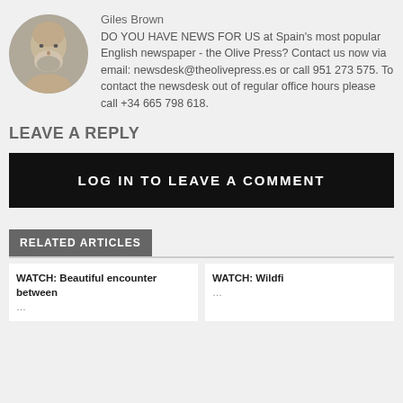[Figure (photo): Circular portrait photo of Giles Brown, a middle-aged bald man with a grey beard.]
Giles Brown
DO YOU HAVE NEWS FOR US at Spain's most popular English newspaper - the Olive Press? Contact us now via email: newsdesk@theolivepress.es or call 951 273 575. To contact the newsdesk out of regular office hours please call +34 665 798 618.
LEAVE A REPLY
LOG IN TO LEAVE A COMMENT
RELATED ARTICLES
WATCH: Beautiful encounter between
WATCH: Wildfi